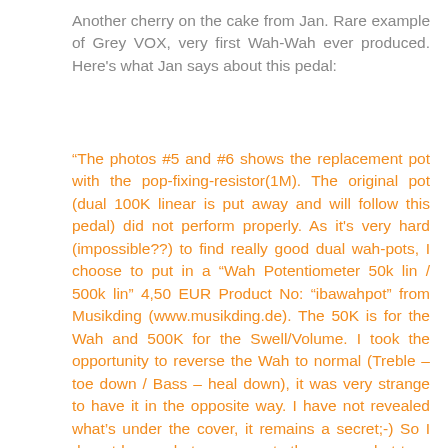Another cherry on the cake from Jan. Rare example of Grey VOX, very first Wah-Wah ever produced. Here's what Jan says about this pedal:
“The photos #5 and #6 shows the replacement pot with the pop-fixing-resistor(1M). The original pot (dual 100K linear is put away and will follow this pedal) did not perform properly. As it's very hard (impossible??) to find really good dual wah-pots, I choose to put in a “Wah Potentiometer 50k lin / 500k lin” 4,50 EUR Product No: “ibawahpot” from Musikding (www.musikding.de). The 50K is for the Wah and 500K for the Swell/Volume. I took the opportunity to reverse the Wah to normal (Treble – toe down / Bass – heal down), it was very strange to have it in the opposite way. I have not revealed what’s under the cover, it remains a secret;-) So I do not know what components there are, what type of; inductor, capacitors and resistors, only the two